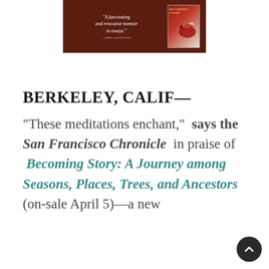[Figure (illustration): Book advertisement image with dark brown background. Left side shows italic quote text: '"A fascinating and evocative memoir in essays."' with attribution below. Right side shows a book cover for 'Becoming Story' with red and white design featuring a bird.]
BERKELEY, CALIF—
"These meditations enchant,"  says the San Francisco Chronicle  in praise of  Becoming Story: A Journey among Seasons, Places, Trees, and Ancestors  (on-sale April 5)—a new